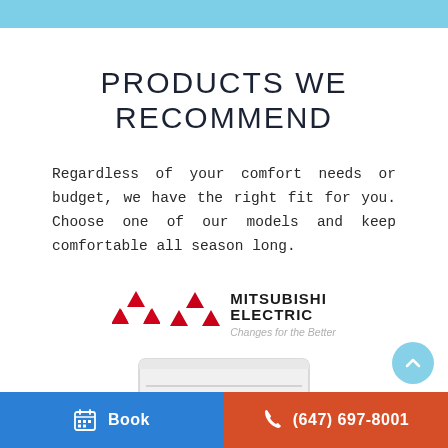PRODUCTS WE RECOMMEND
Regardless of your comfort needs or budget, we have the right fit for you. Choose one of our models and keep comfortable all season long.
[Figure (logo): Mitsubishi Electric logo with three-diamond red triangle symbol and tagline 'Changes for the Better']
[Figure (photo): Mitsubishi Electric floor-mounted or wall-mounted air conditioning unit, white]
Book   (647) 697-8001